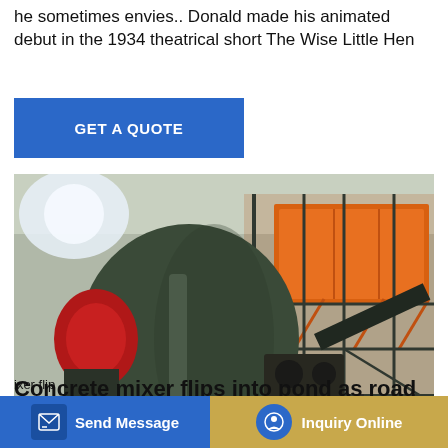he sometimes envies.. Donald made his animated debut in the 1934 theatrical short The Wise Little Hen
GET A QUOTE
[Figure (photo): Large industrial mobile concrete mixer plant on a trailer, dark green drum on the left and orange aggregate bins/conveyor on the right, inside a warehouse/factory building.]
Concrete mixer flips into pond as road
Send Message
Inquiry Online
ixer flip